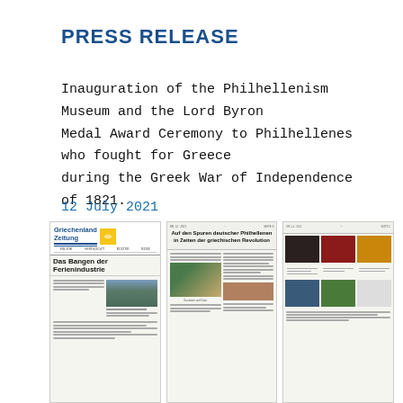PRESS RELEASE
Inauguration of the Philhellenism Museum and the Lord Byron Medal Award Ceremony to Philhellenes who fought for Greece during the Greek War of Independence of 1821.
12 July 2021
[Figure (photo): Three overlapping newspaper pages: (1) Griechenland Zeitung front page with headline 'Das Bangen der Ferienindustrie' and a mountain photo; (2) Interior article page titled 'Auf den Spuren deutscher Philhellenen in Zeiten der griechischen Revolution' with a photo of two people; (3) Article page with a grid of antique/artifact photographs.]